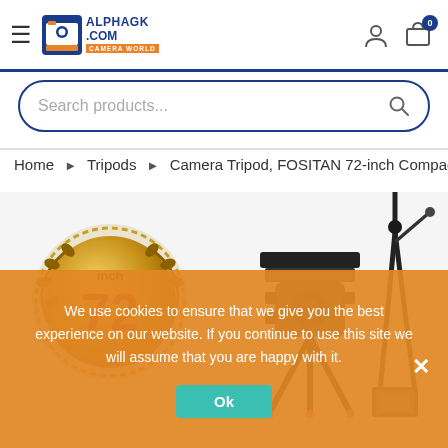ALPHAGK.COM CAMERA WORLD — navigation header with hamburger menu, logo, user icon, cart (0)
Search products...
Home > Tripods > Camera Tripod, FOSITAN 72-inch Compact T
[Figure (photo): Product photo showing a camera tripod with fluid head, a 72-inch badge medal overlay, and tripod with phone holder on the right side]
We use cookies to ensure that we give you the best experience on our website. If you continue to use this site we will assume that you are happy with it.
Ok